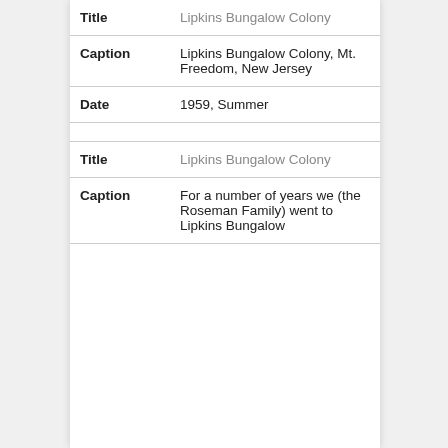| Field | Value |
| --- | --- |
| Title | Lipkins Bungalow Colony |
| Caption | Lipkins Bungalow Colony, Mt. Freedom, New Jersey |
| Date | 1959, Summer |
| Title | Lipkins Bungalow Colony |
| Caption | For a number of years we (the Roseman Family) went to Lipkins Bungalow |